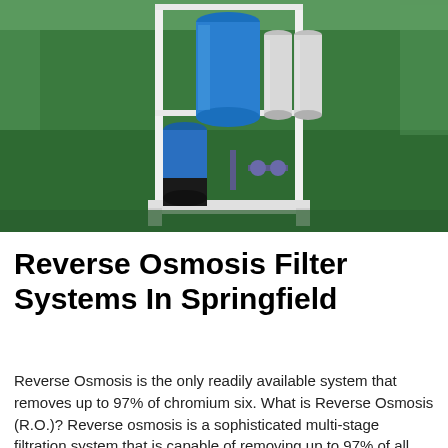[Figure (photo): Industrial reverse osmosis water filtration system with blue pressure vessels and stainless steel membrane housings mounted on a white metal frame rack, on a green epoxy floor inside a factory or treatment facility.]
Reverse Osmosis Filter Systems In Springfield
Reverse Osmosis is the only readily available system that removes up to 97% of chromium six. What is Reverse Osmosis (R.O.)? Reverse osmosis is a sophisticated multi-stage filtration system that is capable of removing up to 97% of all the dissolved minerals from your water. It is